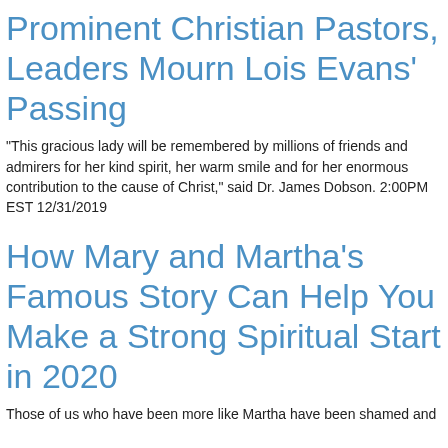Prominent Christian Pastors, Leaders Mourn Lois Evans' Passing
"This gracious lady will be remembered by millions of friends and admirers for her kind spirit, her warm smile and for her enormous contribution to the cause of Christ," said Dr. James Dobson. 2:00PM EST 12/31/2019
How Mary and Martha's Famous Story Can Help You Make a Strong Spiritual Start in 2020
Those of us who have been more like Martha have been shamed and